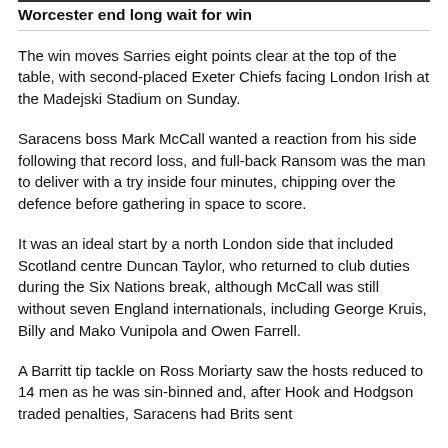Worcester end long wait for win
The win moves Sarries eight points clear at the top of the table, with second-placed Exeter Chiefs facing London Irish at the Madejski Stadium on Sunday.
Saracens boss Mark McCall wanted a reaction from his side following that record loss, and full-back Ransom was the man to deliver with a try inside four minutes, chipping over the defence before gathering in space to score.
It was an ideal start by a north London side that included Scotland centre Duncan Taylor, who returned to club duties during the Six Nations break, although McCall was still without seven England internationals, including George Kruis, Billy and Mako Vunipola and Owen Farrell.
A Barritt tip tackle on Ross Moriarty saw the hosts reduced to 14 men as he was sin-binned and, after Hook and Hodgson traded penalties, Saracens had Brits sent